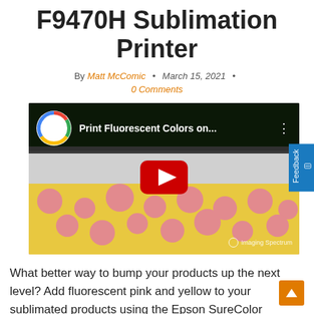F9470H Sublimation Printer
By Matt McComic • March 15, 2021 •
0 Comments
[Figure (screenshot): YouTube video thumbnail showing 'Print Fluorescent Colors on...' with a YouTube play button overlay, displaying a large format printer printing a colorful sublimation pattern with pink and yellow fabric. Imaging Spectrum logo visible in lower right.]
What better way to bump your products up the next level? Add fluorescent pink and yellow to your sublimated products using the Epson SureColor